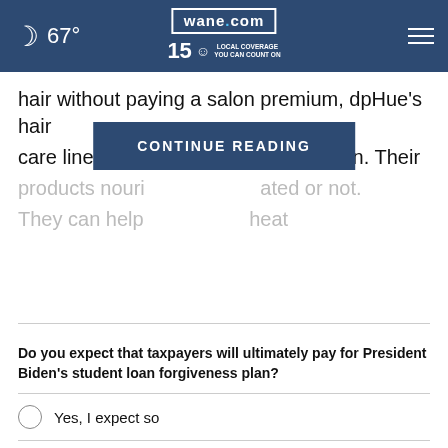67° | wane.com 15 LOCAL COVERAGE YOU CAN COUNT ON
hair without paying a salon premium, dpHue's hair care line is a fantastic at-home solution. Their products nouri... ated or not. They can help ... heat
[Figure (other): CONTINUE READING button overlay]
Do you expect that taxpayers will ultimately pay for President Biden's student loan forgiveness plan?
Yes, I expect so
Maybe, I'm not sure
No, I don't expect so
Other / No opinion